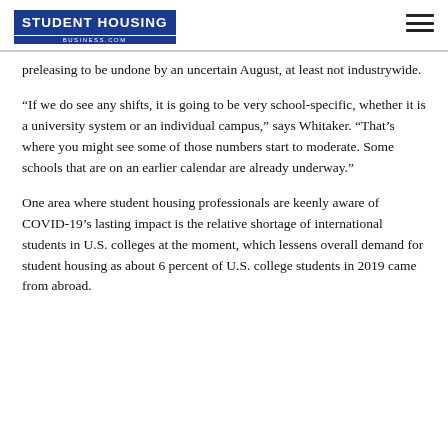STUDENT HOUSING BUSINESS.COM
preleasing to be undone by an uncertain August, at least not industrywide.
“If we do see any shifts, it is going to be very school-specific, whether it is a university system or an individual campus,” says Whitaker. “That’s where you might see some of those numbers start to moderate. Some schools that are on an earlier calendar are already underway.”
One area where student housing professionals are keenly aware of COVID-19’s lasting impact is the relative shortage of international students in U.S. colleges at the moment, which lessens overall demand for student housing as about 6 percent of U.S. college students in 2019 came from abroad.